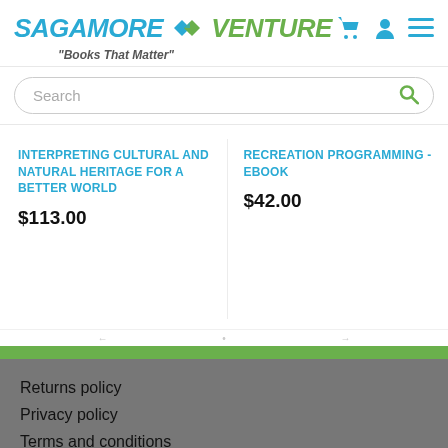[Figure (logo): Sagamore Venture logo with diamond/arrow icon and tagline 'Books That Matter']
Search
INTERPRETING CULTURAL AND NATURAL HERITAGE FOR A BETTER WORLD
$113.00
RECREATION PROGRAMMING - EBOOK
$42.00
Returns policy
Privacy policy
Terms and conditions